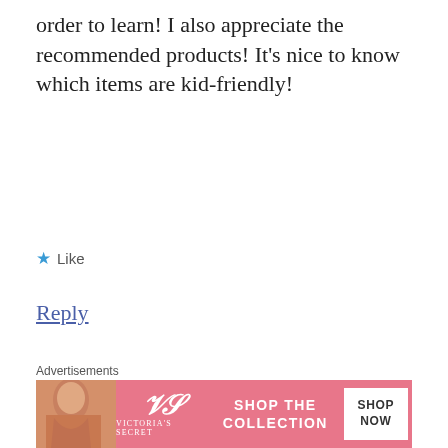order to learn! I also appreciate the recommended products! It's nice to know which items are kid-friendly!
★ Like
Reply
Nino
MARCH 24, 2018 AT 7:52 PM
Advertisements
[Figure (screenshot): Victoria's Secret advertisement banner with model, VS logo, 'SHOP THE COLLECTION' text, and 'SHOP NOW' button]